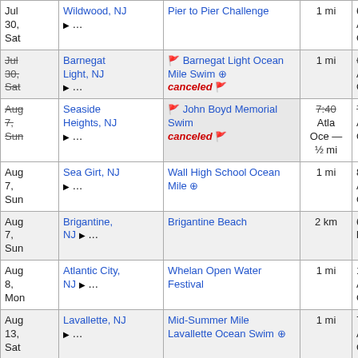| Date | Location | Event | Distance | Time/Info |
| --- | --- | --- | --- | --- |
| Jul 30, Sat | Wildwood, NJ ▶ … | Pier to Pier Challenge | 1 mi | 6:00 Atla Oce |
| Jul 30, Sat (canceled) | Barnegat Light, NJ ▶ … | 🚩 Barnegat Light Ocean Mile Swim ⊕ canceled 🚩 | 1 mi | 6:30 Atla Oce |
| Aug 7, Sun (canceled) | Seaside Heights, NJ ▶ … | 🚩 John Boyd Memorial Swim canceled 🚩 | ½ mi | 7:40 Atla Oce |
| Aug 7, Sun | Sea Girt, NJ ▶ … | Wall High School Ocean Mile ⊕ | 1 mi | 8:00 Atla Oce |
| Aug 7, Sun | Brigantine, NJ ▶ … | Brigantine Beach | 2 km | 6:30 bac |
| Aug 8, Mon | Atlantic City, NJ ▶ … | Whelan Open Water Festival | 1 mi | 10:40 Atla Oce |
| Aug 13, Sat | Lavallette, NJ ▶ … | Mid-Summer Mile Lavallette Ocean Swim ⊕ | 1 mi | 7:45 Atla Oce |
| Aug | ... | ... | 1 mi | 8:30 |